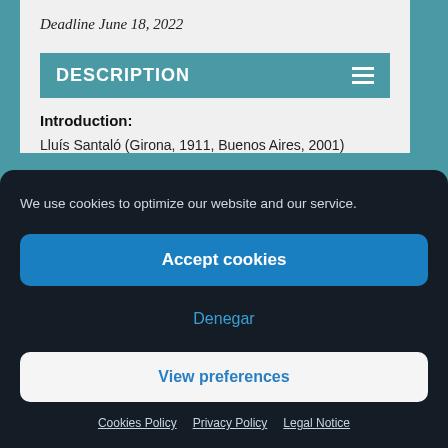Deadline June 18, 2022
DESCRIPTION
Introduction:
Lluís Santaló (Girona, 1911, Buenos Aires, 2001)
We use cookies to optimize our website and our service.
Accept cookies
Denegar
View preferences
Cookies Policy   Privacy Policy   Legal Notice